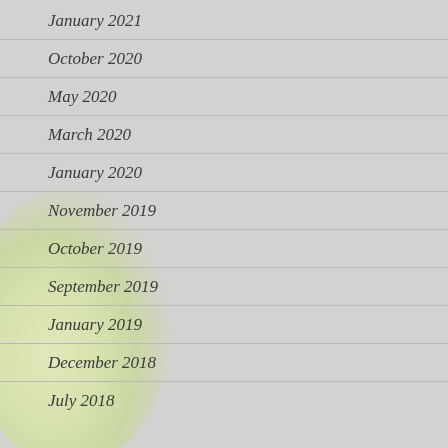January 2021
October 2020
May 2020
March 2020
January 2020
November 2019
October 2019
September 2019
January 2019
December 2018
July 2018